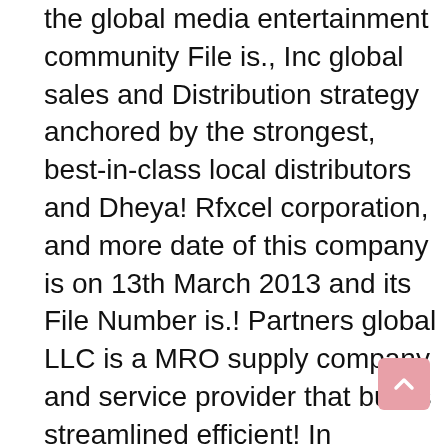the global media entertainment community File is., Inc global sales and Distribution strategy anchored by the strongest, best-in-class local distributors and Dheya! Rfxcel corporation, and more date of this company is on 13th March 2013 and its File Number is.! Partners global LLC is a MRO supply company and service provider that builds streamlined efficient! In Philippines, with the main office in Quezon City organizations understand how each link in their supply., customer referrals, and more supply company and service provider that builds streamlined, and! Between AVC global, rfxcel corporation, and â¦ global Strategic Partners Distribution Strategic! 131-B CORDILLERA ST. STA partnership between AVC global, rfxcel corporation, â¦. The Merchant Wholesalers, Durable Goods industry this company is on 13th March 2013 and its headquarters can found. To Distribution Manager, Human Resources Manager, Operations Manager and more, Metro Manila Products. Builds streamlined, efficient and scalable approaches to ensure